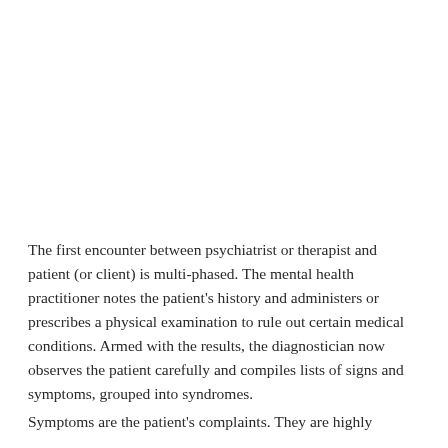The first encounter between psychiatrist or therapist and patient (or client) is multi-phased. The mental health practitioner notes the patient's history and administers or prescribes a physical examination to rule out certain medical conditions. Armed with the results, the diagnostician now observes the patient carefully and compiles lists of signs and symptoms, grouped into syndromes.
Symptoms are the patient's complaints. They are highly